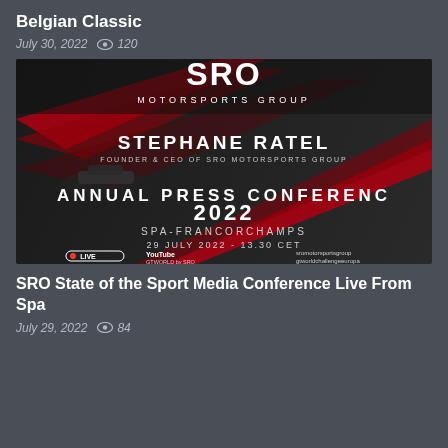Belgian Classic
July 30, 2022  120
[Figure (photo): SRO Motorsports Group Annual Press Conference 2022 promotional banner. Shows STEPHANE RATEL, Founder & CEO of SRO Motorsports Group, with text: ANNUAL PRESS CONFERENCE 2022, SPA-FRANCORCHAMPS, 29 JULY 2022 - 13.30 CET, LIVE badge, YouTube GTWORLD by SRO and Facebook gtworlchallengeeurope logos.]
SRO State of the Sport Media Conference Live From Spa
July 29, 2022  84